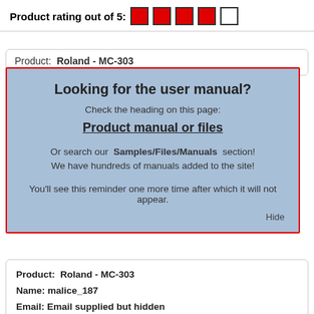Product rating out of 5: ■ ■ ■ ■ □
Product:  Roland - MC-303
[Figure (screenshot): Blue popup overlay with red border. Title: 'Looking for the user manual?', subtitle: 'Check the heading on this page:', link: 'Product manual or files', body: 'Or search our Samples/Files/Manuals section! We have hundreds of manuals added to the site!', reminder: 'You'll see this reminder one more time after which it will not appear.', Hide button at bottom right.]
Product:  Roland - MC-303
Name: malice_187
Email: Email supplied but hidden